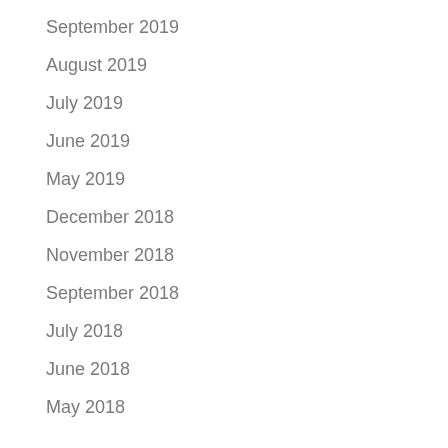September 2019
August 2019
July 2019
June 2019
May 2019
December 2018
November 2018
September 2018
July 2018
June 2018
May 2018